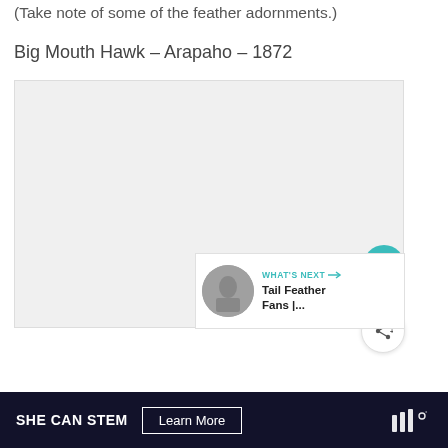(Take note of some of the feather adornments.)
Big Mouth Hawk – Arapaho – 1872
[Figure (photo): Historical photograph placeholder, light gray background, showing area where a photo of Big Mouth Hawk (Arapaho, 1872) would appear. UI overlay elements include a teal heart/like button (748 likes), a share button, and a 'What's Next' panel showing 'Tail Feather Fans |...']
SHE CAN STEM   Learn More